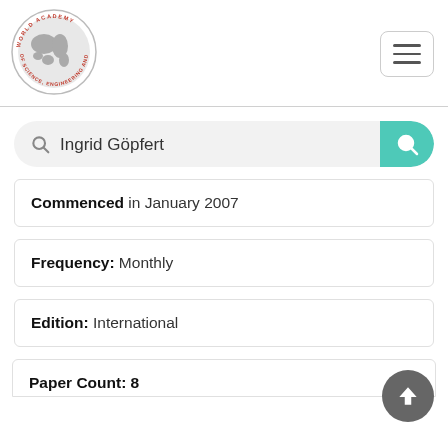[Figure (logo): World Academy of Science, Engineering and Technology circular logo with globe in center]
Ingrid Göpfert (search query)
Commenced in January 2007
Frequency: Monthly
Edition: International
Paper Count: 8 (partial)